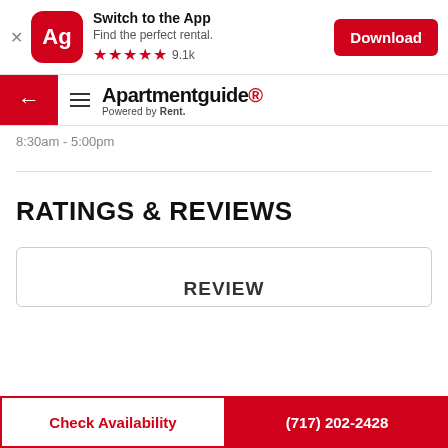[Figure (screenshot): App download banner with Ag logo (red rounded square), 'Switch to the App', 'Find the perfect rental.', 5 red stars, 9.1k rating count, and a red Download button]
← = Apartmentguide® Powered by Rent.
8:30am - 5:00pm
RATINGS & REVIEWS
REVIEW
Check Availability
(717) 202-2428